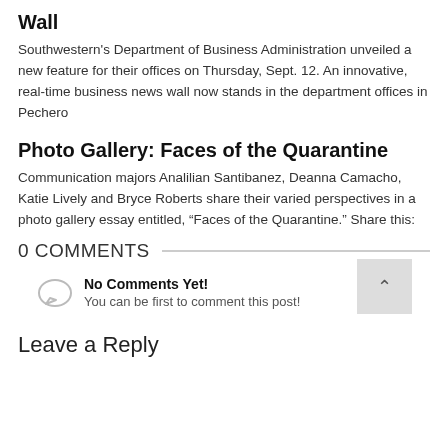Wall
Southwestern's Department of Business Administration unveiled a new feature for their offices on Thursday, Sept. 12. An innovative, real-time business news wall now stands in the department offices in Pechero
Photo Gallery: Faces of the Quarantine
Communication majors Analilian Santibanez, Deanna Camacho, Katie Lively and Bryce Roberts share their varied perspectives in a photo gallery essay entitled, “Faces of the Quarantine.” Share this:
0 COMMENTS
No Comments Yet!
You can be first to comment this post!
Leave a Reply